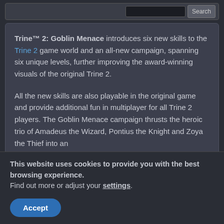Trine™ 2: Goblin Menace introduces six new skills to the Trine 2 game world and an all-new campaign, spanning six unique levels, further improving the award-winning visuals of the original Trine 2.

All the new skills are also playable in the original game and provide additional fun in multiplayer for all Trine 2 players. The Goblin Menace campaign thrusts the heroic trio of Amadeus the Wizard, Pontius the Knight and Zoya the Thief into an
This website uses cookies to provide you with the best browsing experience.
Find out more or adjust your settings.
Accept